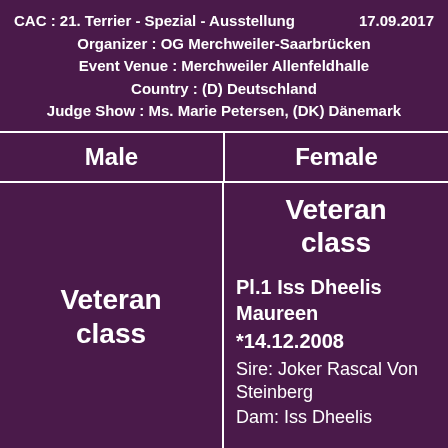CAC : 21. Terrier - Spezial - Ausstellung   17.09.2017
Organizer : OG Merchweiler-Saarbrücken
Event Venue : Merchweiler Allenfeldhalle
Country : (D) Deutschland
Judge Show : Ms. Marie Petersen, (DK) Dänemark
| Male | Female |
| --- | --- |
| Veteran class | Veteran class

Pl.1 Iss Dheelis Maureen
*14.12.2008
Sire: Joker Rascal Von Steinberg
Dam: Iss Dheelis |